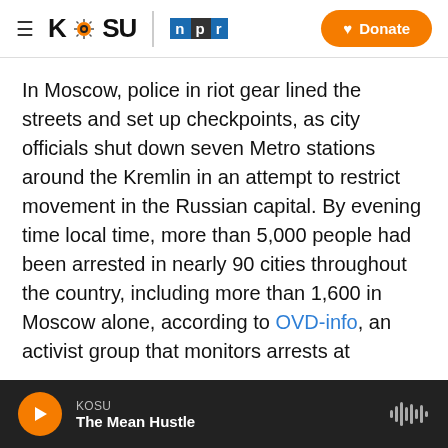KOSU | npr — Donate
In Moscow, police in riot gear lined the streets and set up checkpoints, as city officials shut down seven Metro stations around the Kremlin in an attempt to restrict movement in the Russian capital. By evening time local time, more than 5,000 people had been arrested in nearly 90 cities throughout the country, including more than 1,600 in Moscow alone, according to OVD-info, an activist group that monitors arrests at protests.
The heavy police presence in Moscow left demonstrators scrambling to revise their plans.
KOSU — The Mean Hustle